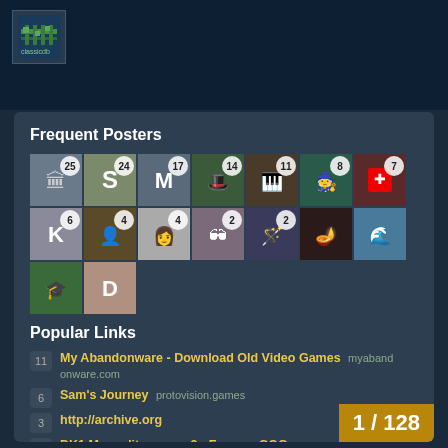[Figure (logo): Website logo with circuit board / pixel art style icon in dark blue banner]
Frequent Posters
[Figure (infographic): Grid of user avatar images with post count badges: 25, 24, 17, 14, 11, 8, 7, 6, 4, 4, 2, 2, and more avatars without counts]
Popular Links
11   My Abandonware - Download Old Video Games myabandonware.com
6   Sam's Journey protovision.games
3   http://archive.org
2   DK1 Map editor, page 2 - Forum - GOG.com  gog.com
2   Sam's Journey: 1250 Units Sold! :: Knights of Bytes  tsofbytes.games
1 / 128